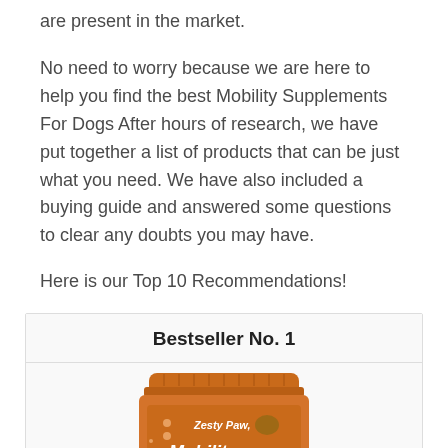are present in the market.
No need to worry because we are here to help you find the best Mobility Supplements For Dogs After hours of research, we have put together a list of products that can be just what you need. We have also included a buying guide and answered some questions to clear any doubts you may have.
Here is our Top 10 Recommendations!
Bestseller No. 1
[Figure (photo): Orange jar of Zesty Paws Mobility supplement product]